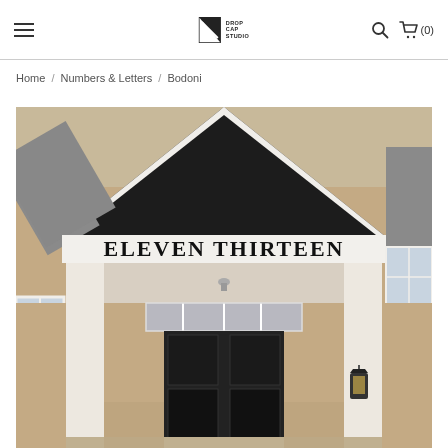Drop Cap Studio — Navigation header with hamburger menu, logo, search icon, and cart (0)
Home / Numbers & Letters / Bodoni
[Figure (photo): Exterior photo of a house entryway with a white gabled porch. A sign above the door reads 'ELEVEN THIRTEEN' in bold serif (Bodoni) letters. The house has tan/beige siding, white trim columns, and a dark triangular roof peak. A lantern-style light fixture is visible on the right column.]